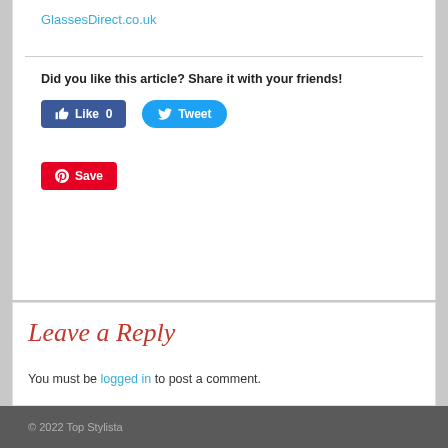GlassesDirect.co.uk
Did you like this article? Share it with your friends!
[Figure (screenshot): Social share buttons: Facebook Like (0), Twitter Tweet, and Pinterest Save]
Leave a Reply
You must be logged in to post a comment.
© 2022 Top Stylista